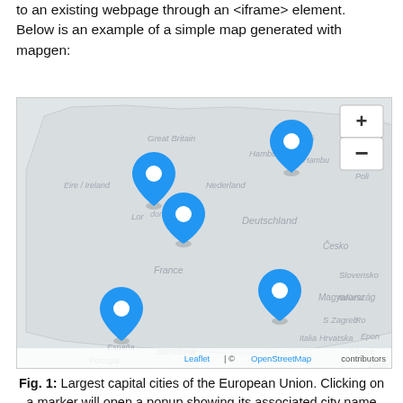to an existing webpage through an <iframe> element. Below is an example of a simple map generated with mapgen:
[Figure (map): An interactive map of Europe showing blue location markers indicating largest capital cities of the European Union. Five markers are visible over approximate locations of London, a central European city, Berlin/Hamburg area, Spain/Madrid, and Italy/Rome area. The map has a light gray background with country/region labels. A zoom control (+/-) is shown in the top-right corner. A legend at the bottom reads 'Leaflet | © OpenStreetMap contributors'.]
Fig. 1: Largest capital cities of the European Union. Clicking on a marker will open a popup showing its associated city name and